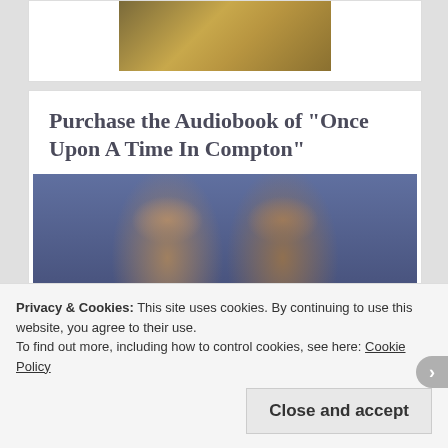[Figure (photo): Partial image at top of page, appears to show a person in a yellow/gold sweater, cropped]
Purchase the Audiobook of “Once Upon A Time In Compton”
[Figure (photo): Two men wearing caps and dark shirts with 'ONCE UPON' text visible, photo has a blue overlay tint]
Privacy & Cookies: This site uses cookies. By continuing to use this website, you agree to their use.
To find out more, including how to control cookies, see here: Cookie Policy
Close and accept